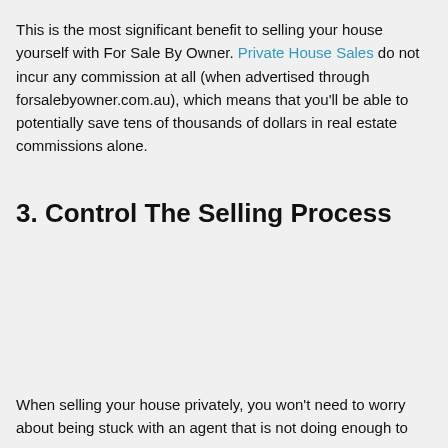This is the most significant benefit to selling your house yourself with For Sale By Owner. Private House Sales do not incur any commission at all (when advertised through forsalebyowner.com.au), which means that you'll be able to potentially save tens of thousands of dollars in real estate commissions alone.
3. Control The Selling Process
When selling your house privately, you won't need to worry about being stuck with an agent that is not doing enough to